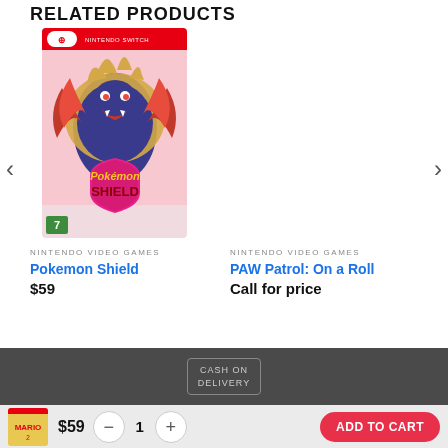RELATED PRODUCTS
[Figure (photo): Pokemon Shield Nintendo Switch game box art showing a Zamazenta legendary Pokemon on a pink/white background with the Nintendo Switch logo and age rating 7]
NINTENDO VIDEO GAMES
Pokemon Shield
$59
NINTENDO VIDEO GAMES
PAW Patrol: On a Roll
Call for price
CASH ON DELIVERY
$59
ADD TO CART